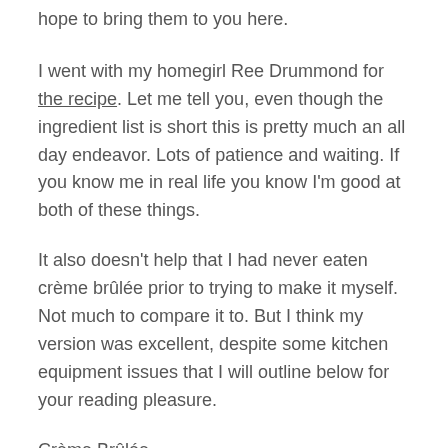hope to bring them to you here.
I went with my homegirl Ree Drummond for the recipe. Let me tell you, even though the ingredient list is short this is pretty much an all day endeavor. Lots of patience and waiting. If you know me in real life you know I'm good at both of these things.
It also doesn't help that I had never eaten crème brûlée prior to trying to make it myself. Not much to compare it to. But I think my version was excellent, despite some kitchen equipment issues that I will outline below for your reading pleasure.
Crème Brûlée
(slightly adapted from The Pioneer Woman)